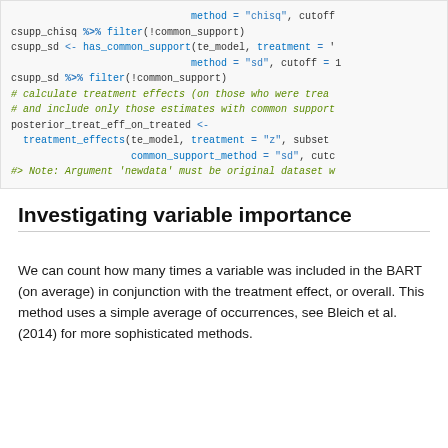[Figure (screenshot): R code snippet showing common support filtering and treatment effects calculation with BART model. Shows csupp_chisq and csupp_sd filter operations, posterior_treat_eff_on_treated assignment using treatment_effects(), and a note about newdata argument.]
Investigating variable importance
We can count how many times a variable was included in the BART (on average) in conjunction with the treatment effect, or overall. This method uses a simple average of occurrences, see Bleich et al. (2014) for more sophisticated methods.